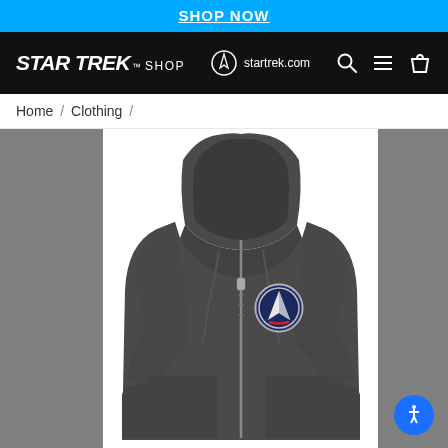SHOP NOW
[Figure (logo): Star Trek Shop navigation bar with logo, startrek.com link, search, menu and cart icons]
Home / Clothing /
[Figure (photo): Dark charcoal zip-up hoodie with Star Trek Starfleet emblem patch on left chest, displayed on white background with grey side panels]